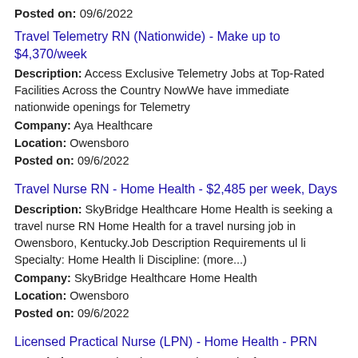Posted on: 09/6/2022
Travel Telemetry RN (Nationwide) - Make up to $4,370/week
Description: Access Exclusive Telemetry Jobs at Top-Rated Facilities Across the Country NowWe have immediate nationwide openings for Telemetry
Company: Aya Healthcare
Location: Owensboro
Posted on: 09/6/2022
Travel Nurse RN - Home Health - $2,485 per week, Days
Description: SkyBridge Healthcare Home Health is seeking a travel nurse RN Home Health for a travel nursing job in Owensboro, Kentucky.Job Description Requirements ul li Specialty: Home Health li Discipline: (more...)
Company: SkyBridge Healthcare Home Health
Location: Owensboro
Posted on: 09/6/2022
Licensed Practical Nurse (LPN) - Home Health - PRN
Description: Overview: br Are you in search of a new career opportunity that makes a meaningful impact If so, now is the time to find your calling at Enhabit Home Health Hospice. -As a national